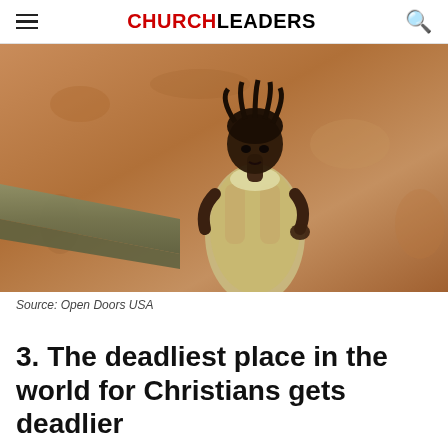CHURCHLEADERS
[Figure (photo): A young African girl in a dress leaning against an earth-toned wall, with a concrete ledge visible on the left side. Photo credit: Open Doors USA.]
Source: Open Doors USA
3. The deadliest place in the world for Christians gets deadlier